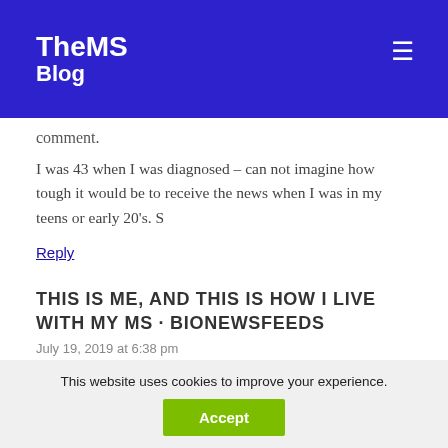TheMS Blog
comment.
I was 43 when I was diagnosed – can not imagine how tough it would be to receive the news when I was in my teens or early 20's. S
Reply
THIS IS ME, AND THIS IS HOW I LIVE WITH MY MS · BIONEWSFEEDS
July 19, 2019 at 6:38 pm
This website uses cookies to improve your experience.